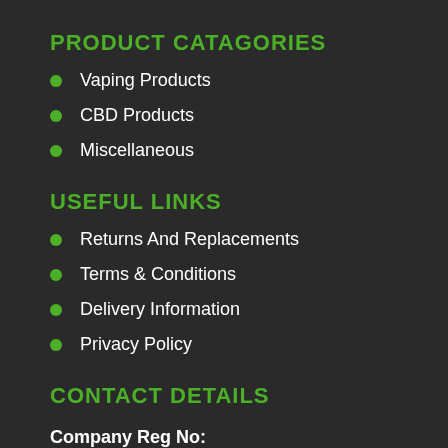PRODUCT CATAGORIES
Vaping Products
CBD Products
Miscellaneous
USEFUL LINKS
Returns And Replacements
Terms & Conditions
Delivery Information
Privacy Policy
CONTACT DETAILS
Company Reg No:
12042235